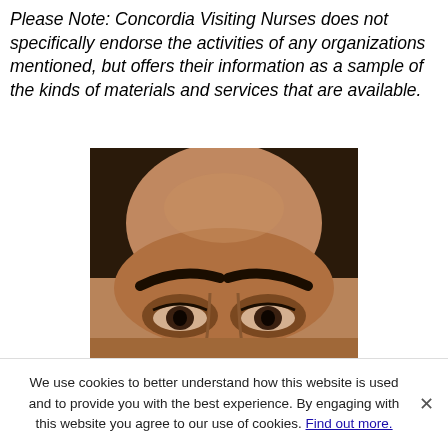Please Note: Concordia Visiting Nurses does not specifically endorse the activities of any organizations mentioned, but offers their information as a sample of the kinds of materials and services that are available.
[Figure (photo): Close-up photograph of a man's face showing forehead and eyes, cropped tightly]
We use cookies to better understand how this website is used and to provide you with the best experience. By engaging with this website you agree to our use of cookies. Find out more.